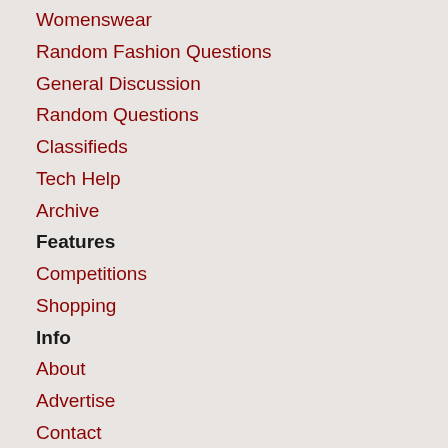Womenswear
Random Fashion Questions
General Discussion
Random Questions
Classifieds
Tech Help
Archive
Features
Competitions
Shopping
Info
About
Advertise
Contact
Help
Subscribe
Privacy policy